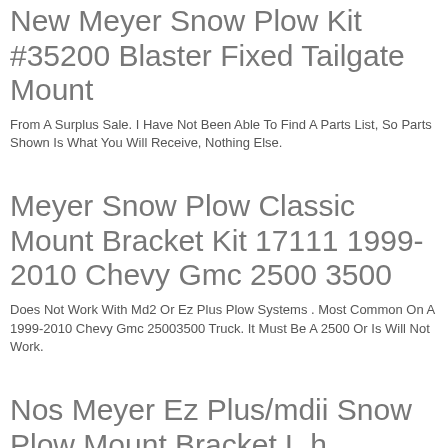New Meyer Snow Plow Kit #35200 Blaster Fixed Tailgate Mount
From A Surplus Sale. I Have Not Been Able To Find A Parts List, So Parts Shown Is What You Will Receive, Nothing Else.
Meyer Snow Plow Classic Mount Bracket Kit 17111 1999-2010 Chevy Gmc 2500 3500
Does Not Work With Md2 Or Ez Plus Plow Systems . Most Common On A 1999-2010 Chevy Gmc 25003500 Truck. It Must Be A 2500 Or Is Will Not Work.
Nos Meyer Ez Plus/mdii Snow Plow Mount Bracket L.h. Sidemember 10207 13-17